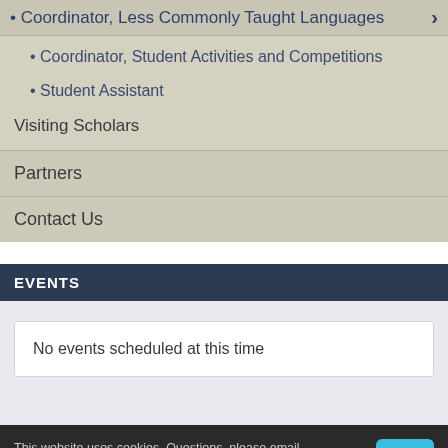Coordinator, Less Commonly Taught Languages
Coordinator, Student Activities and Competitions
Student Assistant
Visiting Scholars
Partners
Contact Us
EVENTS
No events scheduled at this time
This website uses cookies. Questions, please email dataprivacy@gsu.edu. Find out more in our Privacy Notices.
About   Arts & Ideas